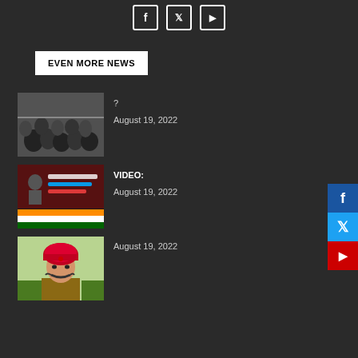Social media icons (Facebook, Twitter, YouTube)
EVEN MORE NEWS
[Figure (photo): Black and white photo of a crowd of people]
?
August 19, 2022
[Figure (screenshot): Video thumbnail with text in Sinhala script and Indian flag colors]
VIDEO:
August 19, 2022
[Figure (illustration): Illustration of a man wearing a red turban with a mustache]
August 19, 2022